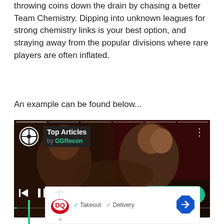throwing coins down the drain by chasing a better Team Chemistry. Dipping into unknown leagues for strong chemistry links is your best option, and straying away from the popular divisions where rare players are often inflated.
An example can be found below...
[Figure (screenshot): Video player showing 'Top Articles by GGRecon' overlay on a dark cinematic image with two people. Controls at bottom include skip-back, pause, skip-forward, mute buttons, and a 'READ MORE' teal button. A teal progress bar is at the bottom left.]
[Figure (screenshot): Dairy Queen advertisement banner with DQ logo, checkmarks for Takeout and Delivery, and a blue diamond directional icon.]